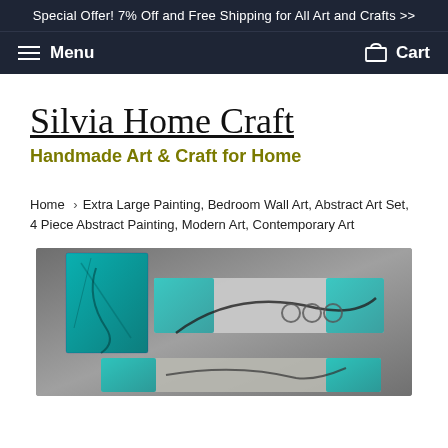Special Offer! 7% Off and Free Shipping for All Art and Crafts >>
Menu | Cart
Silvia Home Craft
Handmade Art & Craft for Home
Home › Extra Large Painting, Bedroom Wall Art, Abstract Art Set, 4 Piece Abstract Painting, Modern Art, Contemporary Art
[Figure (photo): Product photo showing a 4-piece abstract painting set with teal/turquoise and grey tones, featuring geometric and organic shapes arranged in panels.]